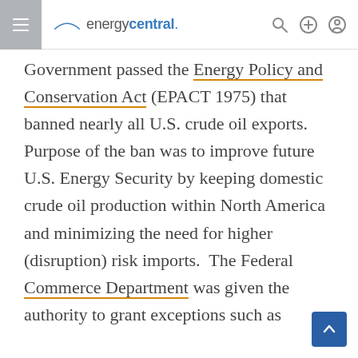energycentral. [navigation bar with hamburger menu, logo, search, add, and account icons]
Government passed the Energy Policy and Conservation Act (EPACT 1975) that banned nearly all U.S. crude oil exports.  Purpose of the ban was to improve future U.S. Energy Security by keeping domestic crude oil production within North America and minimizing the need for higher (disruption) risk imports.  The Federal Commerce Department was given the authority to grant exceptions such as